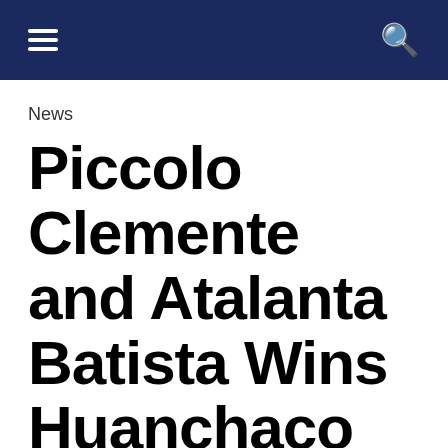Navigation bar with hamburger menu and search icon
News
Piccolo Clemente and Atalanta Batista Wins Huanchaco Longboard Pro Peru 2014